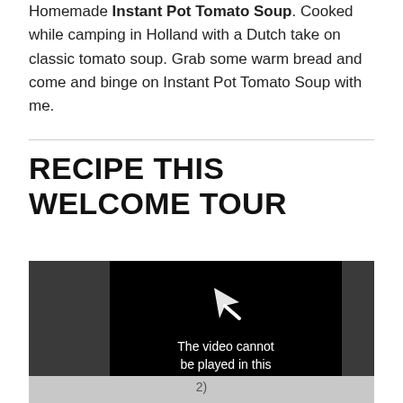Homemade Instant Pot Tomato Soup. Cooked while camping in Holland with a Dutch take on classic tomato soup. Grab some warm bread and come and binge on Instant Pot Tomato Soup with me.
RECIPE THIS WELCOME TOUR
[Figure (screenshot): Video player showing error message: 'The video cannot be played in this browser. (Error Code: 242632)' with a play/cursor arrow icon. Dark background center panel flanked by dark gray side panels. Bottom portion shows a light gray continuation area.]